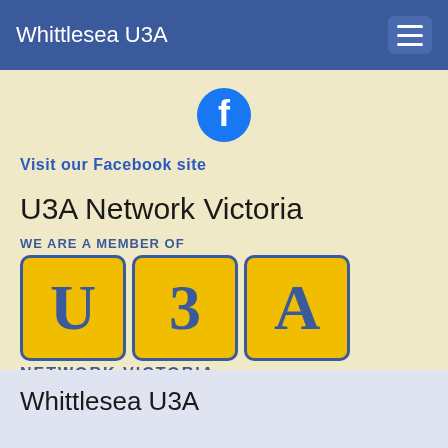Whittlesea U3A
[Figure (logo): Facebook logo icon — blue circle with white 'f' symbol]
Visit our Facebook site
U3A Network Victoria
[Figure (logo): U3A Network Victoria membership logo — blue and yellow logo with three boxes containing U, 3, A letters and text 'WE ARE A MEMBER OF' above and 'NETWORK VICTORIA' below]
Whittlesea U3A